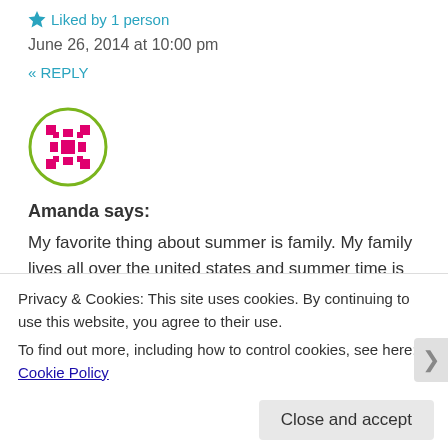★ Liked by 1 person
June 26, 2014 at 10:00 pm
« REPLY
[Figure (illustration): Round avatar icon with a pink/magenta geometric snowflake-like pattern on white background, surrounded by a green circle border]
Amanda says:
My favorite thing about summer is family. My family lives all over the united states and summer time is when we travel most. Being able to see them and spend time with them. Also going to the beach and Friday night bonfires are other things i
Privacy & Cookies: This site uses cookies. By continuing to use this website, you agree to their use.
To find out more, including how to control cookies, see here: Cookie Policy
Close and accept